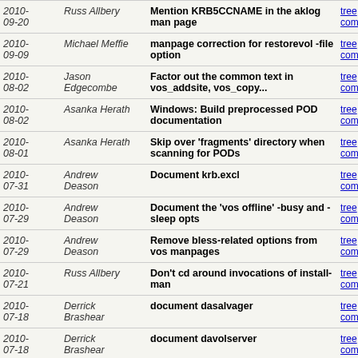| Date | Author | Commit message | Links |
| --- | --- | --- | --- |
| 2010-09-20 | Russ Allbery | Mention KRB5CCNAME in the aklog man page | tree | commitdiff |
| 2010-09-09 | Michael Meffie | manpage correction for restorevol -file option | tree | commitdiff |
| 2010-08-02 | Jason Edgecombe | Factor out the common text in vos_addsite, vos_copy... | tree | commitdiff |
| 2010-08-02 | Asanka Herath | Windows: Build preprocessed POD documentation | tree | commitdiff |
| 2010-08-01 | Asanka Herath | Skip over 'fragments' directory when scanning for PODs | tree | commitdiff |
| 2010-07-31 | Andrew Deason | Document krb.excl | tree | commitdiff |
| 2010-07-29 | Andrew Deason | Document the 'vos offline' -busy and -sleep opts | tree | commitdiff |
| 2010-07-29 | Andrew Deason | Remove bless-related options from vos manpages | tree | commitdiff |
| 2010-07-21 | Russ Allbery | Don't cd around invocations of install-man | tree | commitdiff |
| 2010-07-18 | Derrick Brashear | document dasalvager | tree | commitdiff |
| 2010-07-18 | Derrick Brashear | document davolserver | tree | commitdiff |
| 2010-07-18 | Derrick Brashear | dafileserver synopsis | tree | commitdiff |
| 2010-07-18 | Derrick Brashear | document dafileserver | tree | commitdiff |
| 2010- | Andrew | vos status: add lastActiveTime | tree | commitdiff |